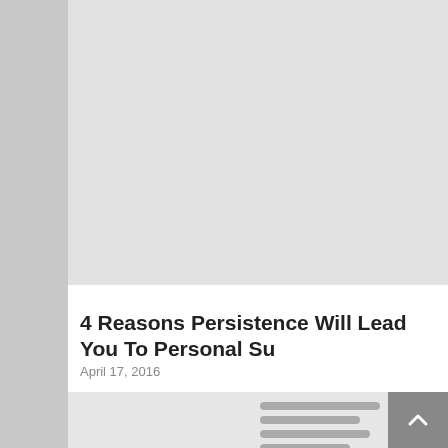[Figure (photo): Gray placeholder image at the top of the page]
4 Reasons Persistence Will Lead You To Personal Su
April 17, 2016
[Figure (photo): Gray placeholder image in the lower portion of the page with placeholder content lines and a scroll-to-top button]